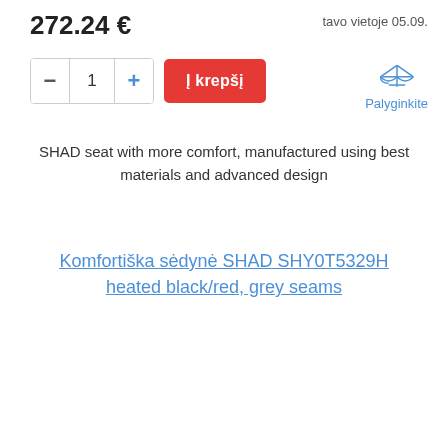272.24 €
tavo vietoje 05.09.
Į krepšį
Palyginkite
SHAD seat with more comfort, manufactured using best materials and advanced design
Komfortiška sėdynė SHAD SHY0T5329H heated black/red, grey seams